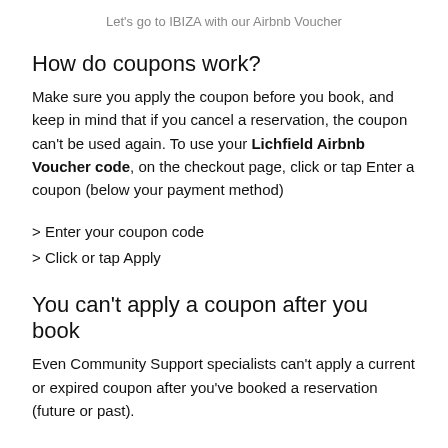Let's go to IBIZA with our Airbnb Voucher
How do coupons work?
Make sure you apply the coupon before you book, and keep in mind that if you cancel a reservation, the coupon can't be used again. To use your Lichfield Airbnb Voucher code, on the checkout page, click or tap Enter a coupon (below your payment method)
> Enter your coupon code
> Click or tap Apply
You can't apply a coupon after you book
Even Community Support specialists can't apply a current or expired coupon after you've booked a reservation (future or past).
If you cancel, Lichfield Airbnb vouchers are not